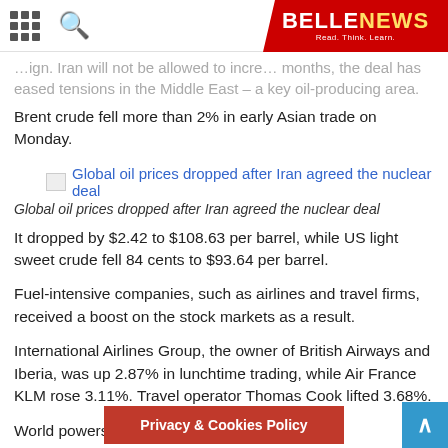BELLENEWS — Read. Think. Learn.
…ign. Iran will not be allowed to incre… months, the deal has eased tensions in the Middle East – a key oil-producing area.
Brent crude fell more than 2% in early Asian trade on Monday.
[Figure (photo): Image link: Global oil prices dropped after Iran agreed the nuclear deal]
Global oil prices dropped after Iran agreed the nuclear deal
It dropped by $2.42 to $108.63 per barrel, while US light sweet crude fell 84 cents to $93.64 per barrel.
Fuel-intensive companies, such as airlines and travel firms, received a boost on the stock markets as a result.
International Airlines Group, the owner of British Airways and Iberia, was up 2.87% in lunchtime trading, while Air France KLM rose 3.11%. Travel operator Thomas Cook lifted 3.68%.
World powers suspect Iran's nu… …tly aimed at